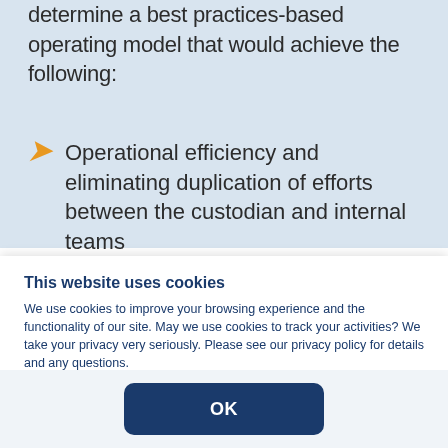determine a best practices-based operating model that would achieve the following:
Operational efficiency and eliminating duplication of efforts between the custodian and internal teams
This website uses cookies
We use cookies to improve your browsing experience and the functionality of our site.  May we use cookies to track your activities?  We take your privacy very seriously. Please see our privacy policy for details and any questions.
OK